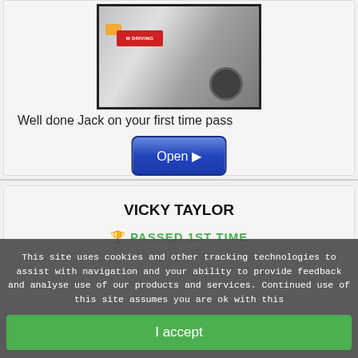[Figure (photo): Photo of a white car with a red logo/sticker, partial view, with a person standing beside it in the background]
Well done Jack on your first time pass
[Figure (other): Blue 'Open ▶' button]
VICKY TAYLOR
🏆 PASSED 1ST TIME
This site uses cookies and other tracking technologies to assist with navigation and your ability to provide feedback and analyse use of our products and services. Continued use of this site assumes you are ok with this
I accept